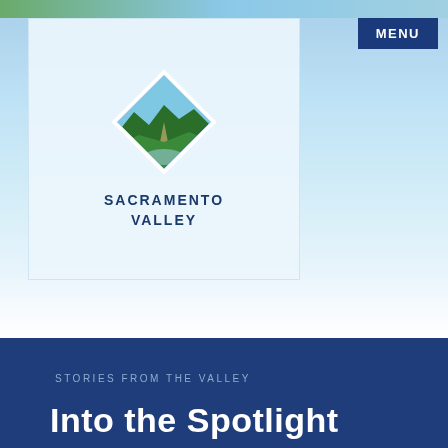[Figure (logo): Sacramento Valley logo: diamond shape with green hills and blue river/sky, with text SACRAMENTO VALLEY below]
MENU
STORIES FROM THE VALLEY
Into the Spotlight